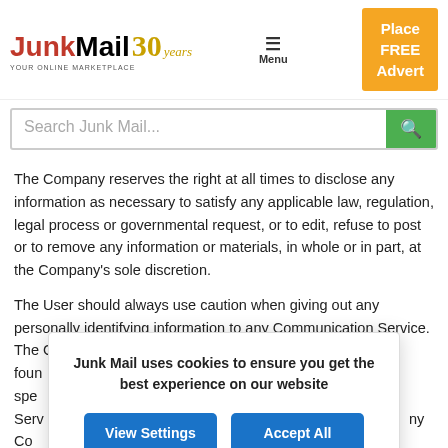Junk Mail - YOUR ONLINE MARKETPLACE - 30 years of success | Menu | Place FREE Advert
Search Junk Mail...
The Company reserves the right at all times to disclose any information as necessary to satisfy any applicable law, regulation, legal process or governmental request, or to edit, refuse to post or to remove any information or materials, in whole or in part, at the Company's sole discretion.
The User should always use caution when giving out any personally identifying information to any Communication Service. The Company does not control or endorse the content, messages or information found in any Communication Service and, therefore, the Company specifically disclaims any liability with regard to the Communication Services and any actions resulting from your participation in any Communication Service. Managers and hosts are not authorized spokespersons, and their views do not necessarily reflect those of the Company spokespersons, ar... do not necessarily reflect
Junk Mail uses cookies to ensure you get the best experience on our website
View Settings
Accept All